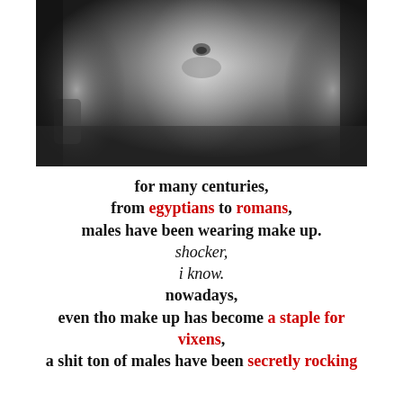[Figure (photo): Black and white close-up photograph of a male torso with defined abs and tattoo on the left arm.]
for many centuries,
from egyptians to romans,
males have been wearing make up.
shocker,
i know.
nowadays,
even tho make up has become a staple for vixens,
a shit ton of males have been secretly rocking